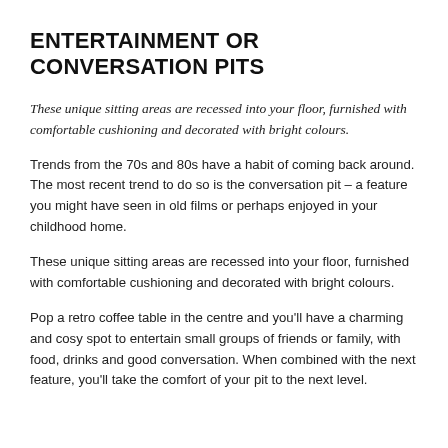ENTERTAINMENT OR CONVERSATION PITS
These unique sitting areas are recessed into your floor, furnished with comfortable cushioning and decorated with bright colours.
Trends from the 70s and 80s have a habit of coming back around. The most recent trend to do so is the conversation pit – a feature you might have seen in old films or perhaps enjoyed in your childhood home.
These unique sitting areas are recessed into your floor, furnished with comfortable cushioning and decorated with bright colours.
Pop a retro coffee table in the centre and you'll have a charming and cosy spot to entertain small groups of friends or family, with food, drinks and good conversation. When combined with the next feature, you'll take the comfort of your pit to the next level.